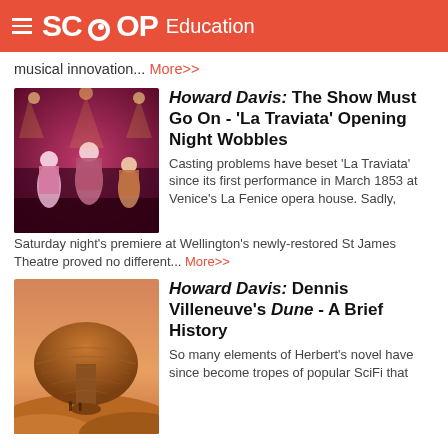SCOOP Education
musical innovation... More>>
Howard Davis: The Show Must Go On - 'La Traviata' Opening Night Wobbles
[Figure (photo): Stage performance photo from La Traviata opera, performers in costumes on stage with red/purple lighting]
Casting problems have beset 'La Traviata' since its first performance in March 1853 at Venice's La Fenice opera house. Sadly, Saturday night's premiere at Wellington's newly-restored St James Theatre proved no different... More>>
Howard Davis: Dennis Villeneuve's Dune - A Brief History
[Figure (photo): Desert landscape from Dune, showing a large mushroom-shaped rock formation in sandy terrain with small figures in background]
So many elements of Herbert's novel have since become tropes of popular SciFi that